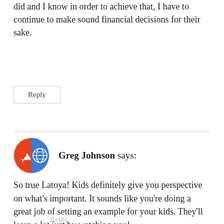did and I know in order to achieve that, I have to continue to make sound financial decisions for their sake.
Reply
Greg Johnson says:
[Figure (logo): Circular avatar icon split into red and blue halves, with an airplane silhouette on the red half and a globe on the blue half]
So true Latoya! Kids definitely give you perspective on what's important. It sounds like you're doing a great job of setting an example for your kids. They'll learn a lot just by watching you!
Reply